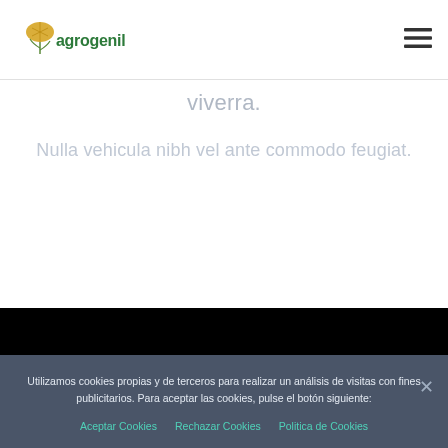[Figure (logo): Agrogenil logo with stylized wheat/grain icon in yellow/gold and green text 'agrogenil']
[Figure (other): Hamburger menu icon (three horizontal lines) in dark color, top right corner]
viverra.
Nulla vehicula nibh vel ante commodo feugiat.
[Figure (photo): Black rectangular area representing a video or image placeholder]
Utilizamos cookies propias y de terceros para realizar un análisis de visitas con fines publicitarios. Para aceptar las cookies, pulse el botón siguiente:
Aceptar Cookies   Rechazar Cookies   Politica de Cookies